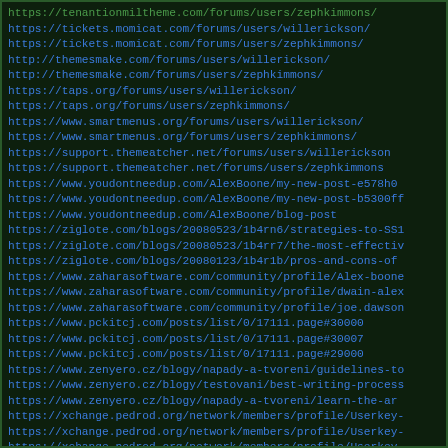https://tenantionmiltheme.com/forums/users/zephkimmons/
https://tickets.momicat.com/forums/users/willerickson/
https://tickets.momicat.com/forums/users/zephkimmons/
http://themesmake.com/forums/users/willerickson/
http://themesmake.com/forums/users/zephkimmons/
https://taps.org/forums/users/willerickson/
https://taps.org/forums/users/zephkimmons/
https://www.smartmenus.org/forums/users/willerickson/
https://www.smartmenus.org/forums/users/zephkimmons/
https://support.themeatcher.net/forums/users/willerickson
https://support.themeatcher.net/forums/users/zephkimmons
https://www.youdontneedup.com/AlexBoone/my-new-post-e578h0
https://www.youdontneedup.com/AlexBoone/my-new-post-b5300ff
https://www.youdontneedup.com/AlexBoone/blog-post
https://ziglote.com/blogs/20080523/1b4rn6/strategies-to-SS1
https://ziglote.com/blogs/20080523/1b4rr7/the-most-effectiv
https://ziglote.com/blogs/20080123/1b4r1b/pros-and-cons-of
https://www.zaharasoftware.com/community/profile/Alex-boone
https://www.zaharasoftware.com/community/profile/dwain-alex
https://www.zaharasoftware.com/community/profile/joe.dawson
https://www.pckitcj.com/posts/list/0/17111.page#30000
https://www.pckitcj.com/posts/list/0/17111.page#30007
https://www.pckitcj.com/posts/list/0/17111.page#29000
https://www.zenyero.cz/blogy/napady-a-tvoreni/guidelines-to
https://www.zenyero.cz/blogy/testovani/best-writing-process
https://www.zenyero.cz/blogy/napady-a-tvoreni/learn-the-ar
https://xchange.pedrod.org/network/members/profile/Userkey-
https://xchange.pedrod.org/network/members/profile/Userkey-
https://xchange.pedrod.org/network/members/profile/Userkey-
http://bestapicunit.com/network/members/profile/Userkey-1it